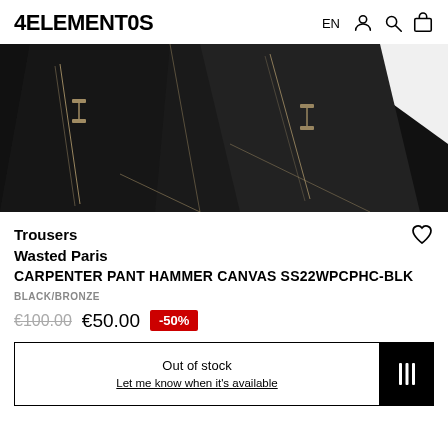4ELEMENT0S | EN
[Figure (photo): Close-up photo of black carpenter trousers with contrast stitching and hammer loops on dark denim fabric]
Trousers
Wasted Paris
CARPENTER PANT HAMMER CANVAS SS22WPCPHC-BLK
BLACK/BRONZE
€100.00  €50.00  -50%
Out of stock
Let me know when it's available